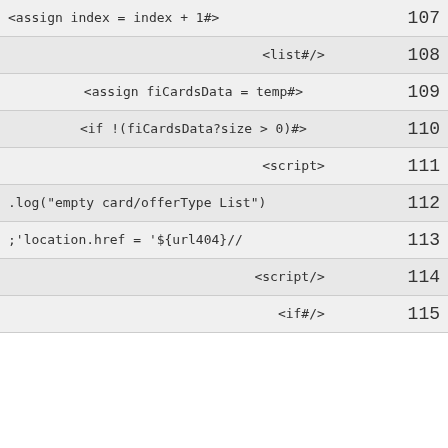| code | line |
| --- | --- |
| <assign index = index + 1#> | 107 |
| <list#/> | 108 |
| <assign fiCardsData = temp#> | 109 |
| <if !(fiCardsData?size > 0)#> | 110 |
| <script> | 111 |
| .log("empty card/offerType List") | 112 |
| ;'location.href = '${url404}// | 113 |
| <script/> | 114 |
| <if#/> | 115 |